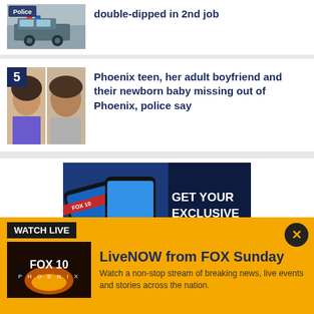[Figure (photo): Police car thumbnail image with 'Police' label]
double-dipped in 2nd job
[Figure (photo): Mugshot photos of a teen girl and adult man, with number badge '5']
Phoenix teen, her adult boyfriend and their newborn baby missing out of Phoenix, police say
[Figure (photo): FOX 10 app advertisement: smartphones showing Coronavirus news and FOX 10 app. Text: GET YOUR EXCLUSIVE WEATHER & NEWS APPS AT]
WATCH LIVE
[Figure (photo): FOX 10 Phoenix logo on a sunset background]
LiveNOW from FOX Sunday
Watch a non-stop stream of breaking news, live events and stories across the nation.